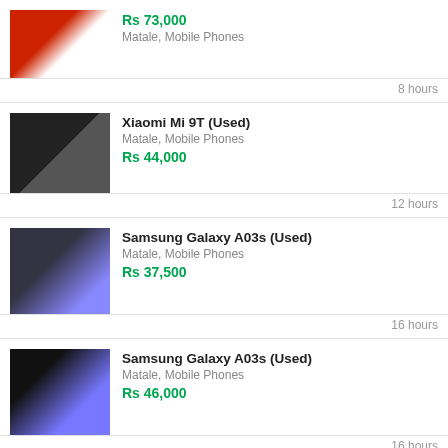Rs 73,000 | Matale, Mobile Phones | 8 hours
Xiaomi Mi 9T (Used) | Matale, Mobile Phones | Rs 44,000 | 12 hours
Samsung Galaxy A03s (Used) | Matale, Mobile Phones | Rs 37,500 | 16 hours
Samsung Galaxy A03s (Used) | Matale, Mobile Phones | Rs 46,000 | 16 hours
Apple i... | Matale, Mobile Phones
Post Ad